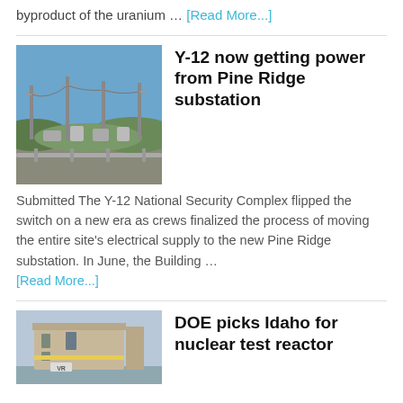byproduct of the uranium … [Read More...]
[Figure (photo): Electrical substation with tall metal poles under a blue sky with hills in background (Pine Ridge substation)]
Y-12 now getting power from Pine Ridge substation
Submitted The Y-12 National Security Complex flipped the switch on a new era as crews finalized the process of moving the entire site's electrical supply to the new Pine Ridge substation. In June, the Building … [Read More...]
[Figure (photo): Rendering of a modular nuclear test reactor building with VR signage]
DOE picks Idaho for nuclear test reactor